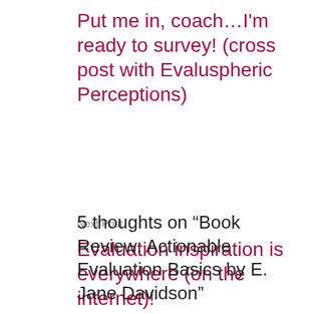Put me in, coach…I'm ready to survey! (cross post with Evaluspheric Perceptions)
Next Post
Evaluation inspiration is everywhere (on the internet)!
5 thoughts on “Book Review: Actionable Evaluation Basics by E. Jane Davidson”